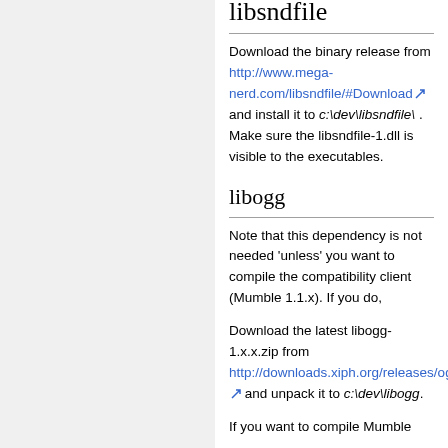libsndfile
Download the binary release from http://www.mega-nerd.com/libsndfile/#Download and install it to c:\dev\libsndfile\ . Make sure the libsndfile-1.dll is visible to the executables.
libogg
Note that this dependency is not needed 'unless' you want to compile the compatibility client (Mumble 1.1.x). If you do,
Download the latest libogg-1.x.x.zip from http://downloads.xiph.org/releases/ogg/ and unpack it to c:\dev\libogg.
If you want to compile Mumble